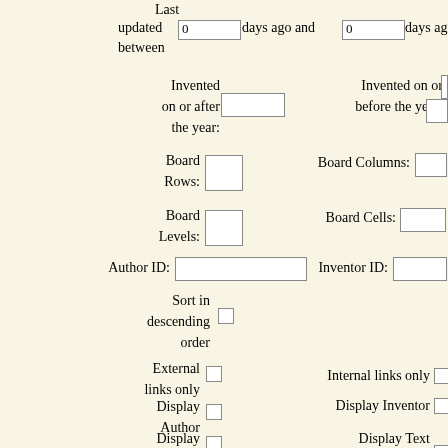Last updated 0 days ago and 0 days ago between
Invented on or after the year:
Invented on or before the year:
Board Rows:
Board Columns:
Board Levels:
Board Cells:
Author ID:
Inventor ID:
Sort in descending order
External links only
Internal links only
Display Author
Display Inventor
Display Images
Display Text Notes
List
List Primary Links